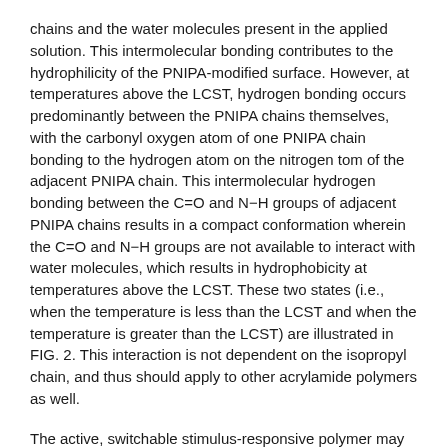chains and the water molecules present in the applied solution. This intermolecular bonding contributes to the hydrophilicity of the PNIPA-modified surface. However, at temperatures above the LCST, hydrogen bonding occurs predominantly between the PNIPA chains themselves, with the carbonyl oxygen atom of one PNIPA chain bonding to the hydrogen atom on the nitrogen tom of the adjacent PNIPA chain. This intermolecular hydrogen bonding between the C=O and N−H groups of adjacent PNIPA chains results in a compact conformation wherein the C=O and N−H groups are not available to interact with water molecules, which results in hydrophobicity at temperatures above the LCST. These two states (i.e., when the temperature is less than the LCST and when the temperature is greater than the LCST) are illustrated in FIG. 2. This interaction is not dependent on the isopropyl chain, and thus should apply to other acrylamide polymers as well.
The active, switchable stimulus-responsive polymer may be arranged as a layer grafted onto a layer comprising a base polymer matrix. In embodiments, the layer comprising a base polymer matrix may have a fixed surface free